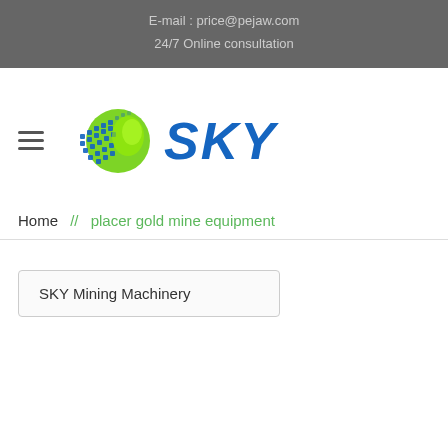E-mail : price@pejaw.com
24/7 Online consultation
[Figure (logo): SKY Mining Machinery logo with globe made of blue and green squares/dots and 'SKY' text in blue italic]
Home // placer gold mine equipment
SKY Mining Machinery